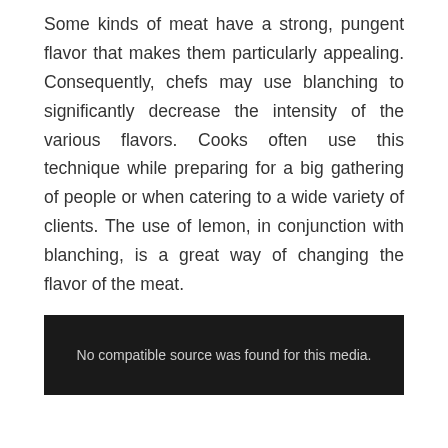Some kinds of meat have a strong, pungent flavor that makes them particularly appealing. Consequently, chefs may use blanching to significantly decrease the intensity of the various flavors. Cooks often use this technique while preparing for a big gathering of people or when catering to a wide variety of clients. The use of lemon, in conjunction with blanching, is a great way of changing the flavor of the meat.
[Figure (screenshot): Dark video player screenshot with message: No compatible source was found for this media.]